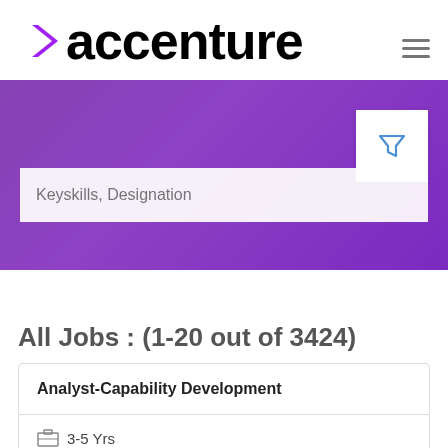[Figure (logo): Accenture logo with purple chevron and bold black text]
[Figure (screenshot): Purple banner with search bar showing 'Keyskills, Designation' placeholder and filter icon]
All Jobs : (1-20 out of 3424)
Analyst-Capability Development
3-5 Yrs